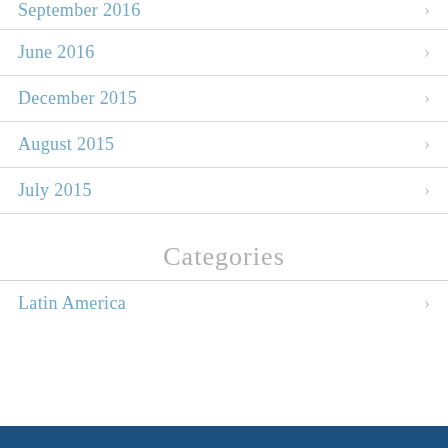September 2016
June 2016
December 2015
August 2015
July 2015
Categories
Latin America